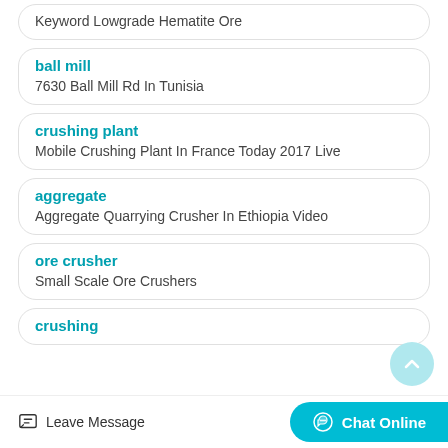Keyword Lowgrade Hematite Ore
ball mill
7630 Ball Mill Rd In Tunisia
crushing plant
Mobile Crushing Plant In France Today 2017 Live
aggregate
Aggregate Quarrying Crusher In Ethiopia Video
ore crusher
Small Scale Ore Crushers
crushing
Leave Message
Chat Online